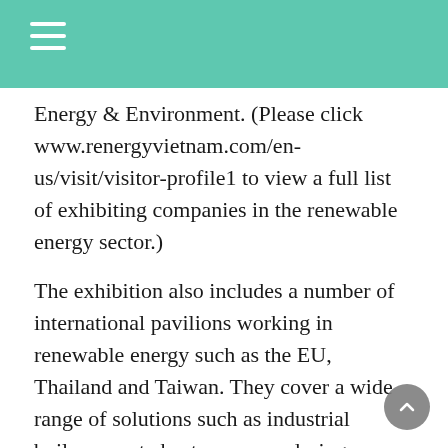Energy & Environment. (Please click www.renergyvietnam.com/en-us/visit/visitor-profile1 to view a full list of exhibiting companies in the renewable energy sector.)
The exhibition also includes a number of international pavilions working in renewable energy such as the EU, Thailand and Taiwan. They cover a wide range of solutions such as industrial boilers, waste heat recovery, drying process and heat exchange process in power, as well as breakthrough technologies, including...